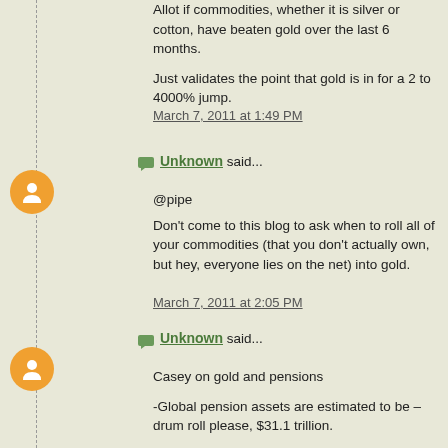Allot if commodities, whether it is silver or cotton, have beaten gold over the last 6 months.

Just validates the point that gold is in for a 2 to 4000% jump.

March 7, 2011 at 1:49 PM
Unknown said...
@pipe
Don't come to this blog to ask when to roll all of your commodities (that you don't actually own, but hey, everyone lies on the net) into gold.

March 7, 2011 at 2:05 PM
Unknown said...
Casey on gold and pensions

-Global pension assets are estimated to be – drum roll please, $31.1 trillion.

-bases his estimate on the fact that commodities represent about 3% of the total assets in the average pension fund. And of that 3%